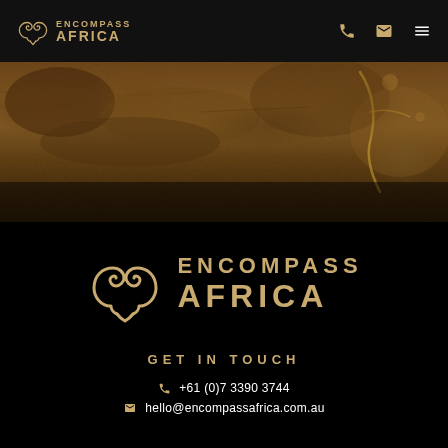Encompass Africa — navigation header with logo, phone icon, email icon, menu icon
[Figure (photo): Close-up wildlife photo showing animal fur/hide, warm brown tones, bokeh background with branch]
Images courtesy of Cheryl and Nicholas Livingston
[Figure (logo): Encompass Africa logo — golden koru/heart symbol with ENCOMPASS AFRICA text in gold on black background]
GET IN TOUCH
+61 (0)7 3390 3744
hello@encompassafrica.com.au